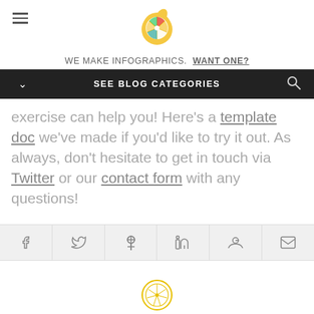[Figure (logo): Colorful lemon/citrus slice logo at top center of page]
WE MAKE INFOGRAPHICS. WANT ONE?
SEE BLOG CATEGORIES
exercise can help you! Here’s a template doc we’ve made if you’d like to try it out. As always, don’t hesitate to get in touch via Twitter or our contact form with any questions!
[Figure (infographic): Social share bar with icons: Facebook, Twitter, Pinterest, LinkedIn, Google+, Email]
[Figure (logo): Small lemon/citrus logo at bottom center]